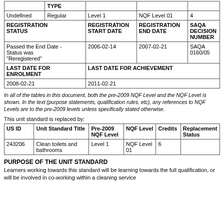|  | TYPE |  |  |  |
| --- | --- | --- | --- | --- |
| Undefined | Regular | Level 1 | NQF Level 01 | 4 |
| REGISTRATION STATUS | REGISTRATION START DATE | REGISTRATION END DATE | SAQA DECISION NUMBER |  |
| Passed the End Date - Status was "Reregistered" | 2006-02-14 | 2007-02-21 | SAQA 0160/05 |  |
| LAST DATE FOR ENROLMENT | LAST DATE FOR ACHIEVEMENT |  |  |  |
| 2008-02-21 | 2011-02-21 |  |  |  |
In all of the tables in this document, both the pre-2009 NQF Level and the NQF Level is shown. In the text (purpose statements, qualification rules, etc), any references to NQF Levels are to the pre-2009 levels unless specifically stated otherwise.
This unit standard is replaced by:
| US ID | Unit Standard Title | Pre-2009 NQF Level | NQF Level | Credits | Replacement Status |
| --- | --- | --- | --- | --- | --- |
| 243206 | Clean toilets and bathrooms | Level 1 | NQF Level 01 | 6 |  |
PURPOSE OF THE UNIT STANDARD
Learners working towards this standard will be learning towards the full qualification, or will be involved in co-working within a cleaning service...